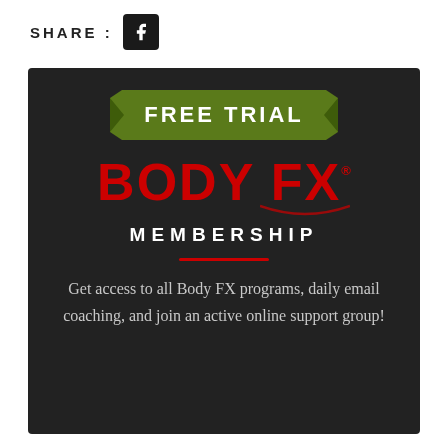SHARE :
[Figure (logo): Facebook logo icon, white f on dark square background]
[Figure (infographic): Dark card with green FREE TRIAL banner, BODY FX logo in red, MEMBERSHIP text in white, red horizontal rule, and body text about membership benefits]
Get access to all Body FX programs, daily email coaching, and join an active online support group!